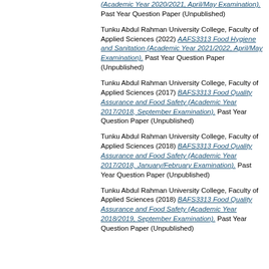(Academic Year 2020/2021, April/May Examination). Past Year Question Paper (Unpublished)
Tunku Abdul Rahman University College, Faculty of Applied Sciences (2022) AAFS3313 Food Hygiene and Sanitation (Academic Year 2021/2022, April/May Examination). Past Year Question Paper (Unpublished)
Tunku Abdul Rahman University College, Faculty of Applied Sciences (2017) BAFS3313 Food Quality Assurance and Food Safety (Academic Year 2017/2018, September Examination). Past Year Question Paper (Unpublished)
Tunku Abdul Rahman University College, Faculty of Applied Sciences (2018) BAFS3313 Food Quality Assurance and Food Safety (Academic Year 2017/2018, January/February Examination). Past Year Question Paper (Unpublished)
Tunku Abdul Rahman University College, Faculty of Applied Sciences (2018) BAFS3313 Food Quality Assurance and Food Safety (Academic Year 2018/2019, September Examination). Past Year Question Paper (Unpublished)